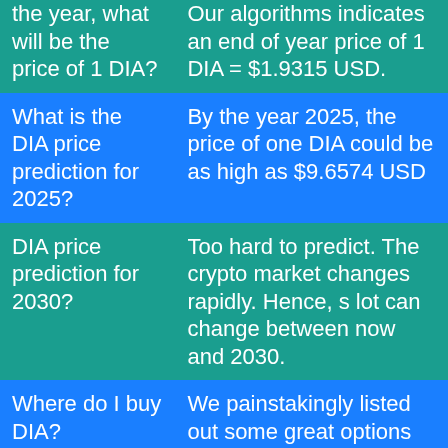| Question | Answer |
| --- | --- |
| the year, what will be the price of 1 DIA? | Our algorithms indicates an end of year price of 1 DIA = $1.9315 USD. |
| What is the DIA price prediction for 2025? | By the year 2025, the price of one DIA could be as high as $9.6574 USD |
| DIA price prediction for 2030? | Too hard to predict. The crypto market changes rapidly. Hence, s lot can change between now and 2030. |
| Where do I buy DIA? | We painstakingly listed out some great options for you. [Purchase DIA coin here →] |